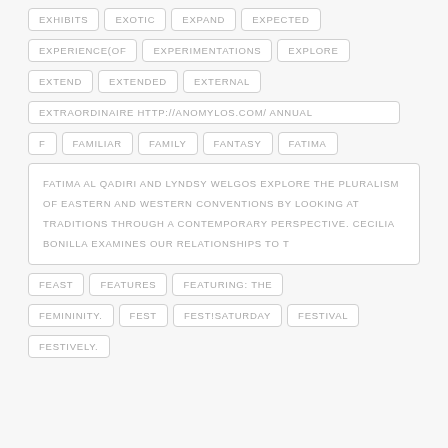EXHIBITS
EXOTIC
EXPAND
EXPECTED
EXPERIENCE(OF
EXPERIMENTATIONS
EXPLORE
EXTEND
EXTENDED
EXTERNAL
EXTRAORDINAIRE HTTP://ANOMYLOS.COM/ ANNUAL
F
FAMILIAR
FAMILY
FANTASY
FATIMA
FATIMA AL QADIRI AND LYNDSY WELGOS EXPLORE THE PLURALISM OF EASTERN AND WESTERN CONVENTIONS BY LOOKING AT TRADITIONS THROUGH A CONTEMPORARY PERSPECTIVE. CECILIA BONILLA EXAMINES OUR RELATIONSHIPS TO T
FEAST
FEATURES
FEATURING: THE
FEMININITY.
FEST
FEST!SATURDAY
FESTIVAL
FESTIVELY.